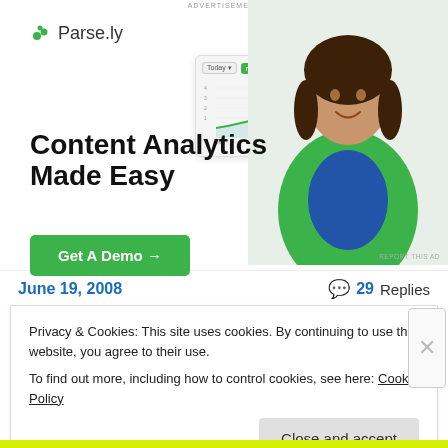ADVERTISEMENT
[Figure (screenshot): Parse.ly advertisement showing a content analytics dashboard screenshot with a line chart, and a woman in a green top smiling. Headline: 'Content Analytics Made Easy' with a green 'Get A Demo →' button and Parse.ly logo.]
REPORT THIS AD
June 19, 2008
💬 29 Replies
Privacy & Cookies: This site uses cookies. By continuing to use this website, you agree to their use.
To find out more, including how to control cookies, see here: Cookie Policy
Close and accept